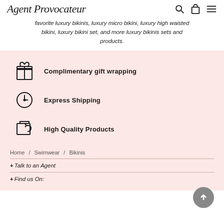Agent Provocateur
favorite luxury bikinis, luxury micro bikini, luxury high waisted bikini, luxury bikini set, and more luxury bikinis sets and products.
Complimentary gift wrapping
Express Shipping
High Quality Products
Home / Swimwear / Bikinis
+ Talk to an Agent
+ Find us On: